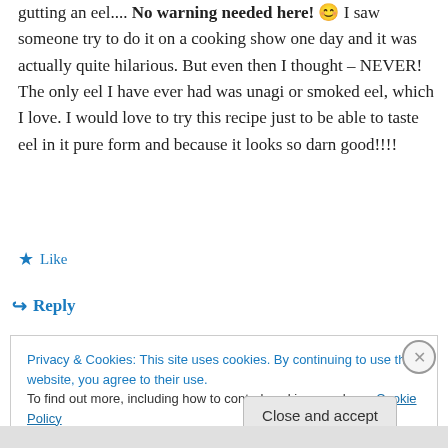gutting an eel.... No warning needed here! 😊 I saw someone try to do it on a cooking show one day and it was actually quite hilarious. But even then I thought – NEVER! The only eel I have ever had was unagi or smoked eel, which I love. I would love to try this recipe just to be able to taste eel in it pure form and because it looks so darn good!!!!
★ Like
↪ Reply
Privacy & Cookies: This site uses cookies. By continuing to use this website, you agree to their use.
To find out more, including how to control cookies, see here: Cookie Policy
Close and accept